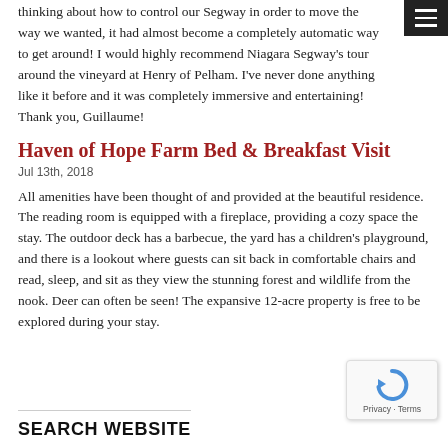thinking about how to control our Segway in order to move the way we wanted, it had almost become a completely automatic way to get around! I would highly recommend Niagara Segway's tour around the vineyard at Henry of Pelham. I've never done anything like it before and it was completely immersive and entertaining! Thank you, Guillaume!
Haven of Hope Farm Bed & Breakfast Visit
Jul 13th, 2018
All amenities have been thought of and provided at the beautiful residence. The reading room is equipped with a fireplace, providing a cozy space the stay. The outdoor deck has a barbecue, the yard has a children's playground, and there is a lookout where guests can sit back in comfortable chairs and read, sleep, and sit as they view the stunning forest and wildlife from the nook. Deer can often be seen! The expansive 12-acre property is free to be explored during your stay.
SEARCH WEBSITE